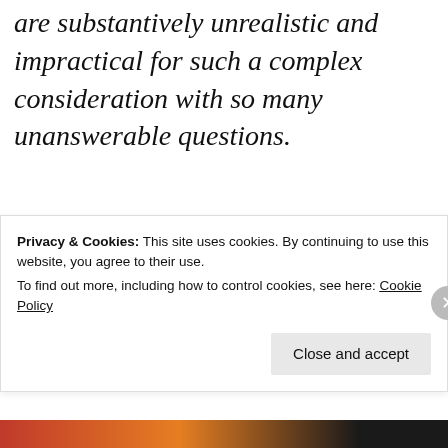are substantively unrealistic and impractical for such a complex consideration with so many unanswerable questions.
Advertisements
[Figure (logo): Automattic logo in bold uppercase letters with a circle around the letter O]
Having examined some of the initial
Privacy & Cookies: This site uses cookies. By continuing to use this website, you agree to their use.
To find out more, including how to control cookies, see here: Cookie Policy